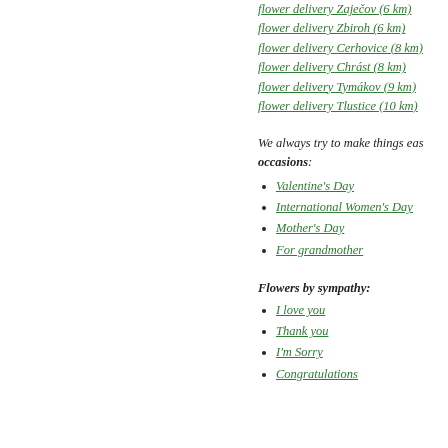flower delivery Zaječov (6 km)
flower delivery Zbiroh (6 km)
flower delivery Cerhovice (8 km)
flower delivery Chrást (8 km)
flower delivery Tymákov (9 km)
flower delivery Tlustice (10 km)
We always try to make things eas... occasions:
Valentine's Day
International Women's Day
Mother's Day
For grandmother
Flowers by sympathy:
I love you
Thank you
I'm Sorry
Congratulations